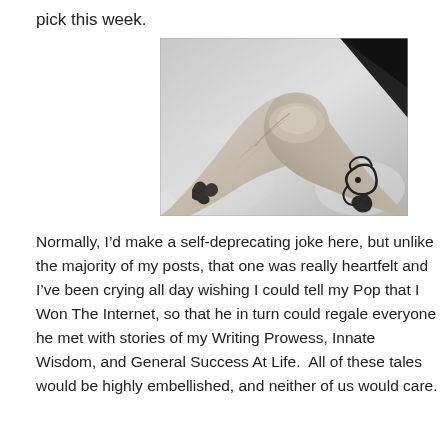pick this week.
[Figure (photo): Black and white photograph of two hands clasped together, with tattoos visible on the wrists, against a background of fabric with a dark diagonal stripe.]
Normally, I’d make a self-deprecating joke here, but unlike the majority of my posts, that one was really heartfelt and I’ve been crying all day wishing I could tell my Pop that I Won The Internet, so that he in turn could regale everyone he met with stories of my Writing Prowess, Innate Wisdom, and General Success At Life.  All of these tales would be highly embellished, and neither of us would care.